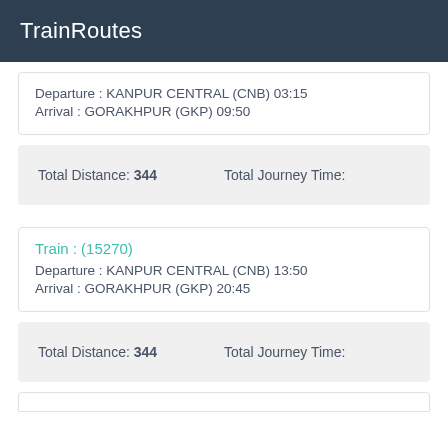TrainRoutes
Departure : KANPUR CENTRAL (CNB) 03:15
Arrival : GORAKHPUR (GKP) 09:50
Total Distance: 344    Total Journey Time:
Train : (15270)
Departure : KANPUR CENTRAL (CNB) 13:50
Arrival : GORAKHPUR (GKP) 20:45
Total Distance: 344    Total Journey Time: